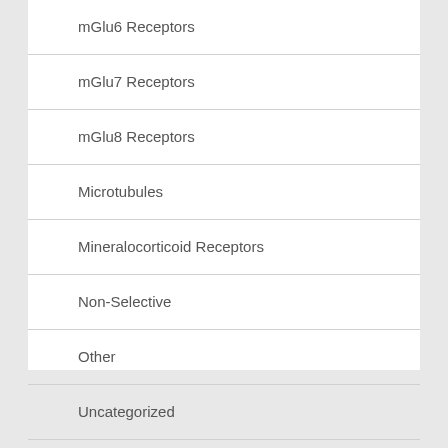mGlu6 Receptors
mGlu7 Receptors
mGlu8 Receptors
Microtubules
Mineralocorticoid Receptors
Non-Selective
Other
Uncategorized